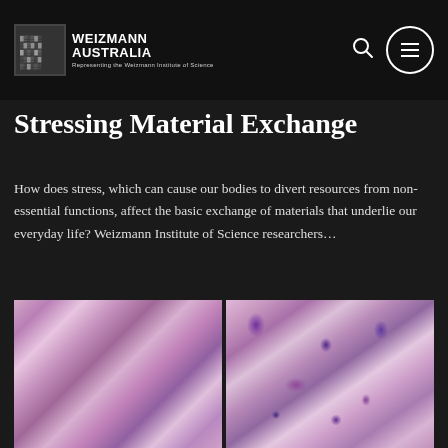WEIZMANN AUSTRALIA — Representing the Weizmann Institute of Science
Stressing Material Exchange
How does stress, which can cause our bodies to divert resources from non-essential functions, affect the basic exchange of materials that underlie our everyday life? Weizmann Institute of Science researchers…
[Figure (photo): Two side-by-side microscopy images showing tissue samples stained in pink and purple, showing cellular structures at high magnification]